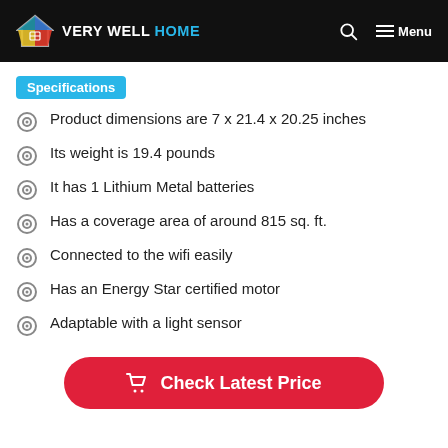VERY WELL HOME
Specifications
Product dimensions are 7 x 21.4 x 20.25 inches
Its weight is 19.4 pounds
It has 1 Lithium Metal batteries
Has a coverage area of around 815 sq. ft.
Connected to the wifi easily
Has an Energy Star certified motor
Adaptable with a light sensor
Check Latest Price